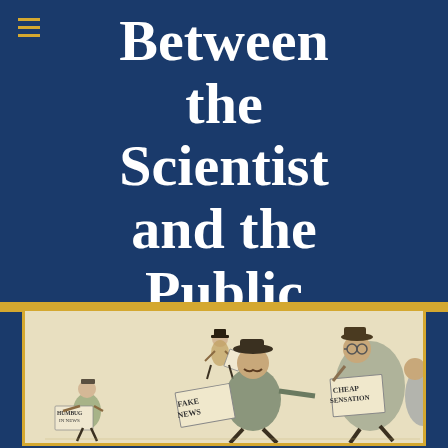Between the Scientist and the Public
[Figure (illustration): A vintage pen-and-ink cartoon illustration showing several caricatured figures running and carrying papers/newspapers. One figure holds a paper labeled 'HUMBUG IN NEWS', the central rushing figure holds 'FAKE NEWS', and a figure on the right carries 'CHEAP SENSATION'. A smaller top-hat figure is visible in the background.]